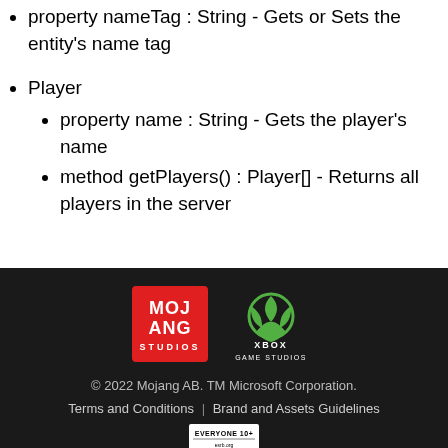property nameTag : String - Gets or Sets the entity's name tag
Player
property name : String - Gets the player's name
method getPlayers() : Player[] - Returns all players in the server
© 2022 Mojang AB. TM Microsoft Corporation. Terms and Conditions | Brand and Assets Guidelines